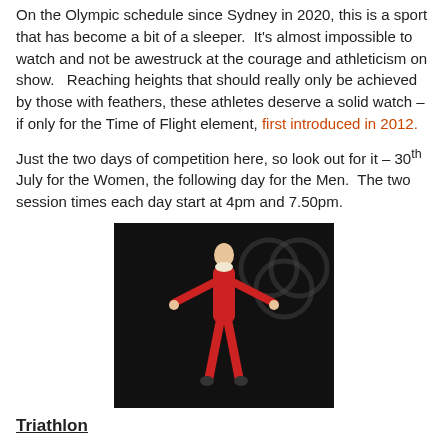On the Olympic schedule since Sydney in 2020, this is a sport that has become a bit of a sleeper. It's almost impossible to watch and not be awestruck at the courage and athleticism on show. Reaching heights that should really only be achieved by those with feathers, these athletes deserve a solid watch – if only for the Time of Flight element, first introduced in 2012.
Just the two days of competition here, so look out for it – 30th July for the Women, the following day for the Men. The two session times each day start at 4pm and 7.50pm.
[Figure (photo): A gymnast performing on the rings or parallel bars, wearing a red outfit, captured upside-down mid-air against a dark background with the faint Olympic rings watermark visible.]
Triathlon